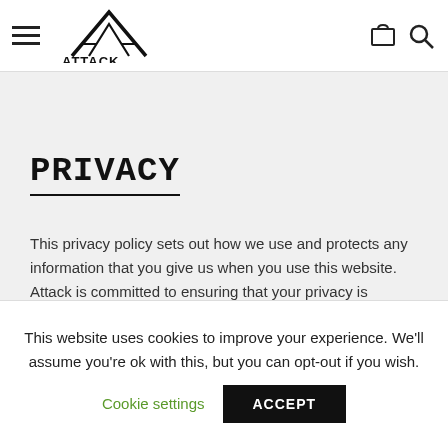ATTACK. [logo with hamburger menu and search/cart icons]
PRIVACY
This privacy policy sets out how we use and protects any information that you give us when you use this website. Attack is committed to ensuring that your privacy is protected. Should we ask you to provide certain information by which you can be identified when using this
This website uses cookies to improve your experience. We'll assume you're ok with this, but you can opt-out if you wish.
Cookie settings   ACCEPT